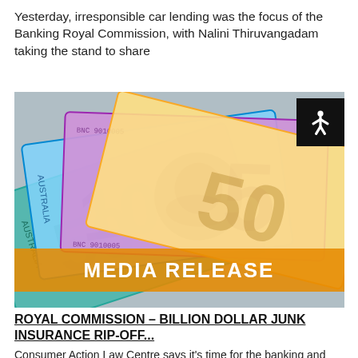Yesterday, irresponsible car lending was the focus of the Banking Royal Commission, with Nalini Thiruvangadam taking the stand to share
[Figure (photo): Fan of Australian banknotes (various denominations including $5 and $50 notes) spread out, with an orange banner reading MEDIA RELEASE overlaid at the bottom. An accessibility icon button appears in the top-right corner.]
ROYAL COMMISSION – BILLION DOLLAR JUNK INSURANCE RIP-OFF...
Consumer Action Law Centre says it's time for the banking and insurance industry to end the billion dollar junk insurance rip-off they've let fester for over a decade. The statement comes